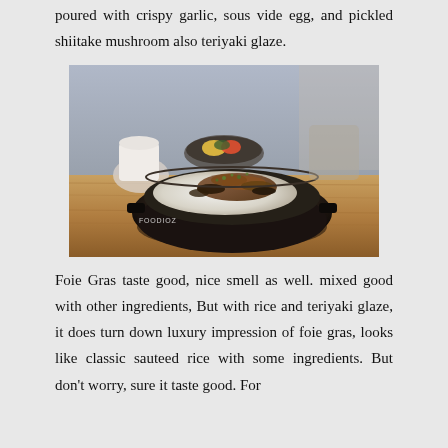poured with crispy garlic, sous vide egg, and pickled shiitake mushroom also teriyaki glaze.
[Figure (photo): A black clay pot/donabe bowl containing rice topped with foie gras, pickled shiitake mushrooms, sous vide egg, and garnished with chopped green onions, served on a wooden board. A white ceramic cup and another dish with fruit/vegetables are visible in the background. A FOODIOZ watermark is visible on the photo.]
Foie Gras taste good, nice smell as well. mixed good with other ingredients, But with rice and teriyaki glaze, it does turn down luxury impression of foie gras, looks like classic sauteed rice with some ingredients. But don't worry, sure it taste good. For